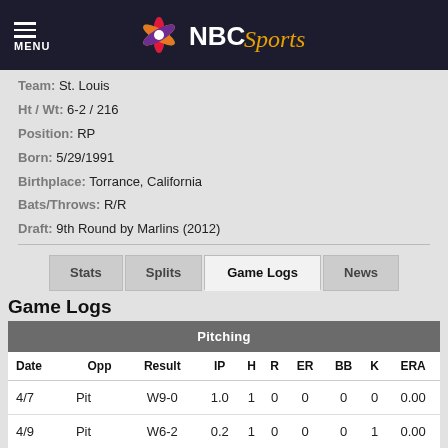NBC Sports
Team: St. Louis
Ht / Wt: 6-2 / 216
Position: RP
Born: 5/29/1991
Birthplace: Torrance, California
Bats/Throws: R/R
Draft: 9th Round by Marlins (2012)
Game Logs
| Pitching |  |  |  |  |  |  |  |  |  |
| --- | --- | --- | --- | --- | --- | --- | --- | --- | --- |
| Date | Opp | Result | IP | H | R | ER | BB | K | ERA |
| 4/7 | Pit | W9-0 | 1.0 | 1 | 0 | 0 | 0 | 0 | 0.00 |
| 4/9 | Pit | W6-2 | 0.2 | 1 | 0 | 0 | 0 | 1 | 0.00 |
| 4/12 | KC | W6-5 | 1.0 | 2 | 1 | 1 | 1 | 1 | 3.38 |